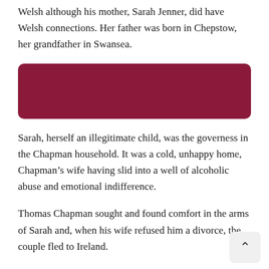Welsh although his mother, Sarah Jenner, did have Welsh connections. Her father was born in Chepstow, her grandfather in Swansea.
[Figure (other): Dark crimson/maroon rounded rectangle decorative bar]
Sarah, herself an illegitimate child, was the governess in the Chapman household. It was a cold, unhappy home, Chapman’s wife having slid into a well of alcoholic abuse and emotional indifference.
Thomas Chapman sought and found comfort in the arms of Sarah and, when his wife refused him a divorce, the couple fled to Ireland.
They called themselves Lawrence, after Sarah’s father.
The disapproval of Dublin’s polite society eventually forced the